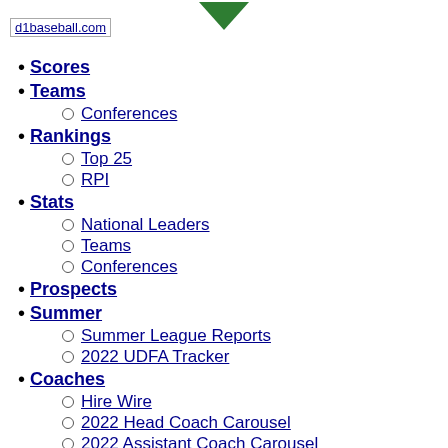[Figure (logo): Green downward-pointing triangle/arrow icon at top center]
[Figure (logo): d1baseball.com logo image placeholder text]
Scores
Teams
Conferences (sub-item under Teams)
Rankings
Top 25 (sub-item under Rankings)
RPI (sub-item under Rankings)
Stats
National Leaders (sub-item under Stats)
Teams (sub-item under Stats)
Conferences (sub-item under Stats)
Prospects
Summer
Summer League Reports (sub-item under Summer)
2022 UDFA Tracker (sub-item under Summer)
Coaches
Hire Wire (sub-item under Coaches)
2022 Head Coach Carousel (sub-item under Coaches)
2022 Assistant Coach Carousel (sub-item under Coaches)
Transfers
2023 Transfer Tracker (sub-item under Transfers)
2022 Transfer Tracker (sub-item under Transfers)
Interactive